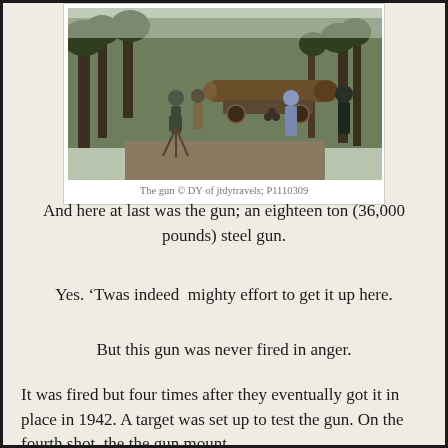[Figure (photo): Outdoor scene showing people gathered around a large historic cannon/gun on a forest path with tall trees. The gun is an eighteen-ton steel artillery piece mounted on a platform.]
The gun © DY of jtdytravels; P1110309
And here at last was the gun; an eighteen ton (36,000 pounds) steel gun.
Yes. ‘Twas indeed  mighty effort to get it up here.
But this gun was never fired in anger.
It was fired but four times after they eventually got it in place in 1942. A target was set up to test the gun. On the fourth shot, the the gun mount